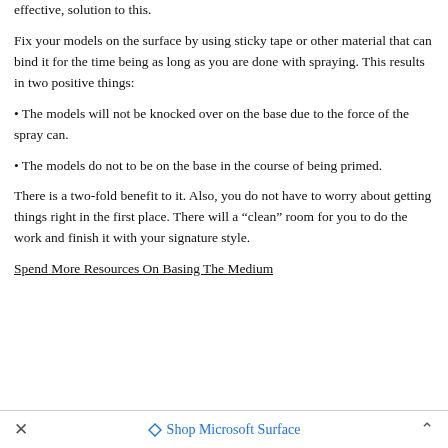effective, solution to this.
Fix your models on the surface by using sticky tape or other material that can bind it for the time being as long as you are done with spraying. This results in two positive things:
• The models will not be knocked over on the base due to the force of the spray can.
• The models do not to be on the base in the course of being primed.
There is a two-fold benefit to it. Also, you do not have to worry about getting things right in the first place. There will a “clean” room for you to do the work and finish it with your signature style.
Spend More Resources On Basing The Medium
✕  Shop Microsoft Surface  ∧